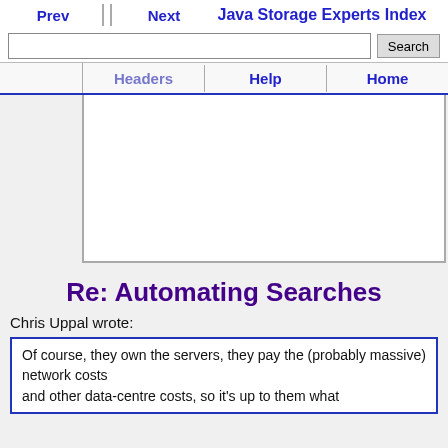Prev  Next  Java Storage Experts Index  Search  Headers  Help  Home
[Figure (other): Advertisement area, white rectangle with border]
Re: Automating Searches
Chris Uppal wrote:
Of course, they own the servers, they pay the (probably massive) network costs and other data-centre costs, so it's up to them what